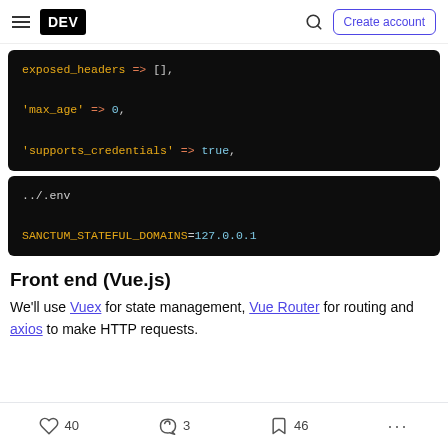DEV | Create account
[Figure (screenshot): Dark code block showing PHP array config: exposed_headers => [], 'max_age' => 0, 'supports_credentials' => true,]
[Figure (screenshot): Dark code block showing .env file content: ../.env and SANCTUM_STATEFUL_DOMAINS=127.0.0.1]
Front end (Vue.js)
We'll use Vuex for state management, Vue Router for routing and axios to make HTTP requests.
40 likes  3 comments  46 bookmarks